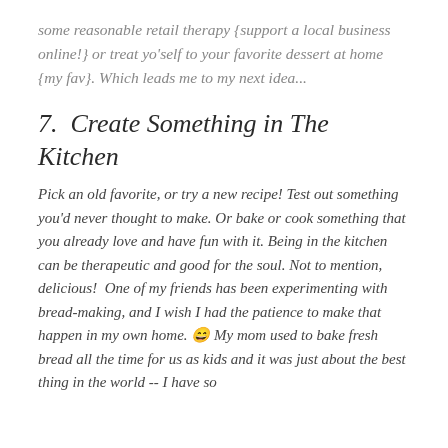some reasonable retail therapy {support a local business online!} or treat yo'self to your favorite dessert at home {my fav}. Which leads me to my next idea...
7.  Create Something in The Kitchen
Pick an old favorite, or try a new recipe! Test out something you'd never thought to make. Or bake or cook something that you already love and have fun with it. Being in the kitchen can be therapeutic and good for the soul. Not to mention, delicious!  One of my friends has been experimenting with bread‑making, and I wish I had the patience to make that happen in my own home. 😄 My mom used to bake fresh bread all the time for us as kids and it was just about the best thing in the world -- I have so